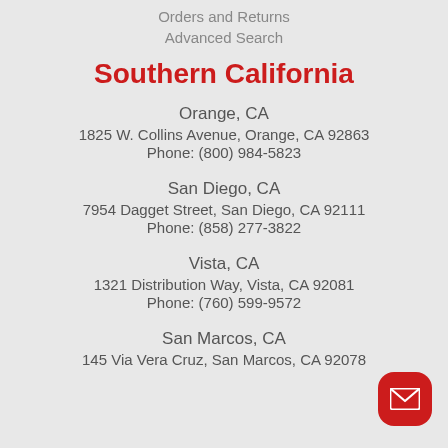Orders and Returns
Advanced Search
Southern California
Orange, CA
1825 W. Collins Avenue, Orange, CA 92863
Phone: (800) 984-5823
San Diego, CA
7954 Dagget Street, San Diego, CA 92111
Phone: (858) 277-3822
Vista, CA
1321 Distribution Way, Vista, CA 92081
Phone: (760) 599-9572
San Marcos, CA
145 Via Vera Cruz, San Marcos, CA 92078